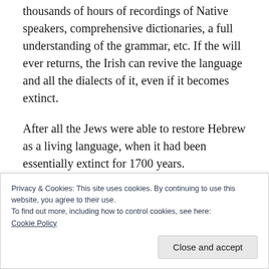thousands of hours of recordings of Native speakers, comprehensive dictionaries, a full understanding of the grammar, etc. If the will ever returns, the Irish can revive the language and all the dialects of it, even if it becomes extinct.
After all the Jews were able to restore Hebrew as a living language, when it had been essentially extinct for 1700 years.
Privacy & Cookies: This site uses cookies. By continuing to use this website, you agree to their use.
To find out more, including how to control cookies, see here:
Cookie Policy
Close and accept